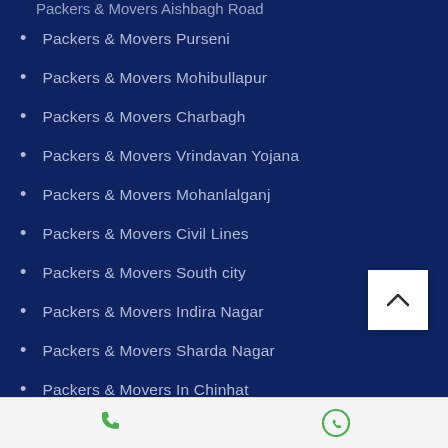Packers & Movers Aishbagh Road (partial, clipped at top)
Packers & Movers Purseni
Packers & Movers Mohibullapur
Packers & Movers Charbagh
Packers & Movers Vrindavan Yojana
Packers & Movers Mohanlalganj
Packers & Movers Civil Lines
Packers & Movers South city
Packers & Movers Indira Nagar
Packers & Movers Sharda Nagar
Packers & Movers In Chinhat (partial)
Phone icon | WhatsApp icon